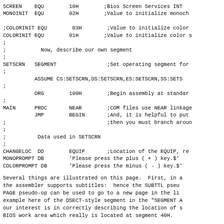SCREEN  EQU        10H        ;Bios Screen Services INT
MONOINIT  EQU        02H        ;Value to initialize monoch

;COLORINIT EQU        03H        ;Value to initialize color
COLORINIT EQU        01H        ;Value to initialize color s
;
;           Now, describe our own segment
;
SETSCRN   SEGMENT                ;Set operating segment for
;
          ASSUME CS:SETSCRN,DS:SETSCRN,ES:SETSCRN,SS:SETS
;
          ORG        100H        ;Begin assembly at standar
;
MAIN      PROC       NEAR        ;COM files use NEAR linkage
          JMP        BEGIN       ;And, it is helpful to put
;                                ;then you must branch aroun
;
;          Data used in SETSCRN
;
CHANGELOC  DD        EQUIP       ;Location of the EQUIP, re
MONOPROMPT DB        'Please press the plus ( + ) key.$'
COLORPROMPT DB       'Please press the minus ( - ) key.$'
Several things are illustrated on this page.  First, in a the assembler supports subtitles:  hence the SUBTTL pseu PAGE pseudo-op can be used to go to a new page in the li example here of the DSECT-style segment in the "SEGMENT A our interest is in correctly describing the location of s BIOS work area which really is located at segment 40H.